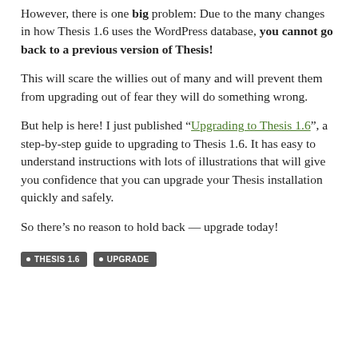However, there is one big problem: Due to the many changes in how Thesis 1.6 uses the WordPress database, you cannot go back to a previous version of Thesis!
This will scare the willies out of many and will prevent them from upgrading out of fear they will do something wrong.
But help is here! I just published “Upgrading to Thesis 1.6”, a step-by-step guide to upgrading to Thesis 1.6. It has easy to understand instructions with lots of illustrations that will give you confidence that you can upgrade your Thesis installation quickly and safely.
So there’s no reason to hold back — upgrade today!
THESIS 1.6
UPGRADE